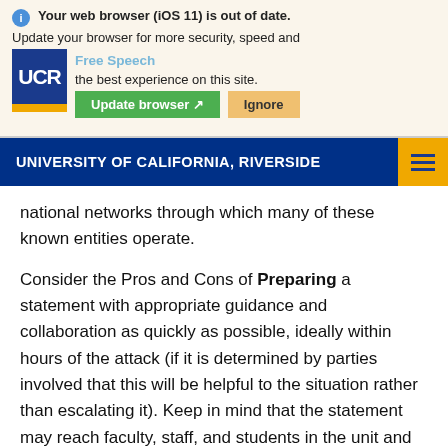[Figure (screenshot): Browser update notification banner with UCR logo and Free Speech overlay text, showing 'Your web browser (iOS 11) is out of date. Update your browser for more security, speed and the best experience on this site.' with Update browser and Ignore buttons.]
UNIVERSITY OF CALIFORNIA, RIVERSIDE
national networks through which many of these known entities operate.
Consider the Pros and Cons of Preparing a statement with appropriate guidance and collaboration as quickly as possible, ideally within hours of the attack (if it is determined by parties involved that this will be helpful to the situation rather than escalating it). Keep in mind that the statement may reach faculty, staff, and students in the unit and on campus, scholars in the discipline at large; and politically diverse people in the community.  As such, issuing a statement could further escalate the situation. University Communications can